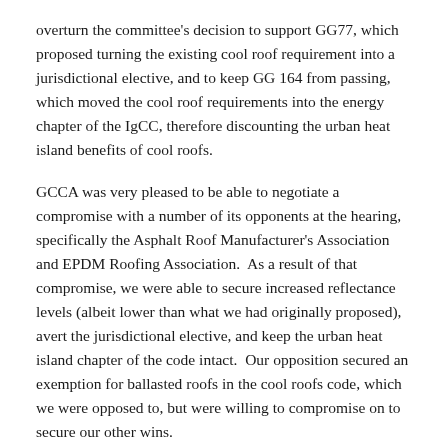overturn the committee's decision to support GG77, which proposed turning the existing cool roof requirement into a jurisdictional elective, and to keep GG 164 from passing, which moved the cool roof requirements into the energy chapter of the IgCC, therefore discounting the urban heat island benefits of cool roofs.
GCCA was very pleased to be able to negotiate a compromise with a number of its opponents at the hearing, specifically the Asphalt Roof Manufacturer's Association and EPDM Roofing Association.  As a result of that compromise, we were able to secure increased reflectance levels (albeit lower than what we had originally proposed), avert the jurisdictional elective, and keep the urban heat island chapter of the code intact.  Our opposition secured an exemption for ballasted roofs in the cool roofs code, which we were opposed to, but were willing to compromise on to secure our other wins.
Unfortunately, we were unsuccessful in winning GG163,